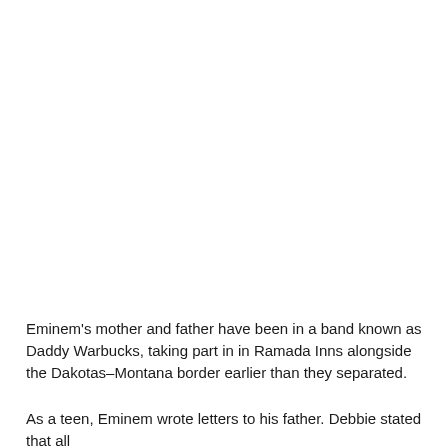Eminem's mother and father have been in a band known as Daddy Warbucks, taking part in in Ramada Inns alongside the Dakotas–Montana border earlier than they separated.
As a teen, Eminem wrote letters to his father. Debbie stated that all